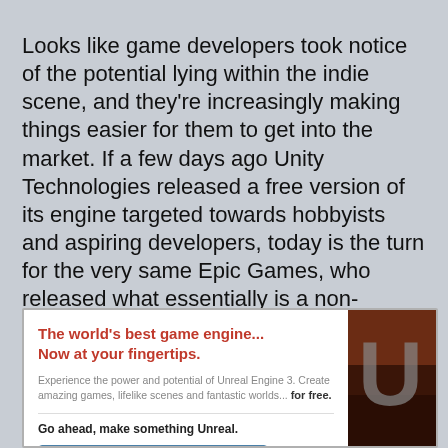Looks like game developers took notice of the potential lying within the indie scene, and they're increasingly making things easier for them to get into the market. If a few days ago Unity Technologies released a free version of its engine targeted towards hobbyists and aspiring developers, today is the turn for the very same Epic Games, who released what essentially is a non-commercial version of its Unreal Engine 3, perhaps the most widely used engine in commercial games during the last years, including some really big hits like Gears of War, BioShock or Mass Effect.
[Figure (screenshot): Screenshot of Unreal Engine 3 (UDK) promotional webpage showing headline 'The world's best game engine... Now at your fingertips.', description text, a download button, and a partial image of the Unreal logo.]